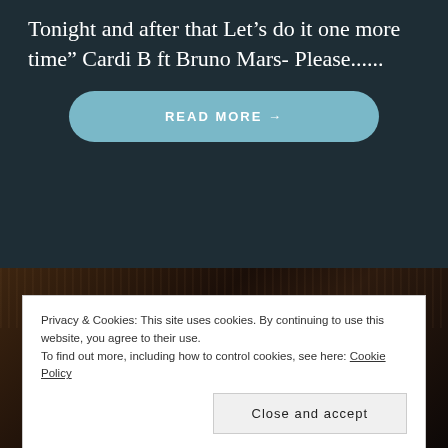Tonight and after that Let’s do it one more time” Cardi B ft Bruno Mars- Please......
[Figure (other): A light blue rounded pill-shaped button reading READ MORE with an arrow]
[Figure (photo): Dark brown leather texture photograph background]
Privacy & Cookies: This site uses cookies. By continuing to use this website, you agree to their use.
To find out more, including how to control cookies, see here: Cookie Policy
Close and accept